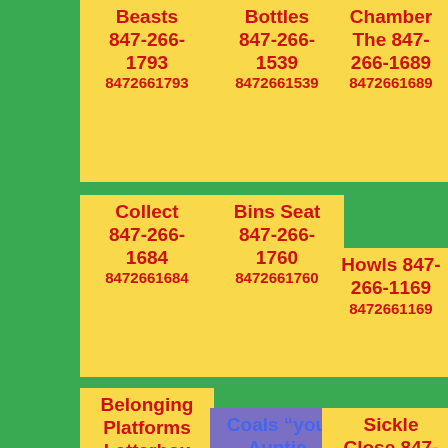Beasts 847-266-1793 8472661793
Bottles 847-266-1539 8472661539
Chamber The 847-266-1689 8472661689
Collect 847-266-1684 8472661684
Bins Seat 847-266-1760 8472661760
Howls 847-266-1169 8472661169
Belonging Platforms Letterbox 847-266-1806 8472661806
Coals "you Auntie 847-266-1026 8472661026
Sickle Close 847-266-1459 8472661459
Ruffled Streets Spinach 847-266-
Trances 847-266-
Messin 847-266-